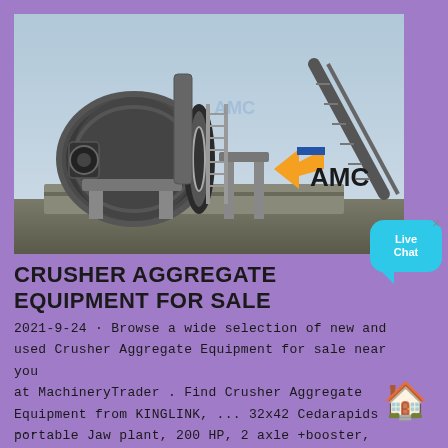[Figure (photo): Industrial mining/crushing equipment — large ball mill or rotary drum machinery at a construction or mining site, with a ladder, conveyor, and an AMC company logo watermark in orange and blue.]
CRUSHER AGGREGATE EQUIPMENT FOR SALE
2021-9-24 · Browse a wide selection of new and used Crusher Aggregate Equipment for sale near you at MachineryTrader . Find Crusher Aggregate Equipment from KINGLINK, ... 32x42 Cedarapids portable Jaw plant, 200 HP, 2 axle +booster, 32'x 42'' Apron Feeder. Both have heavy duty hydraulic legs, good tires. ... When the rock hits the plate or anvil, it ...